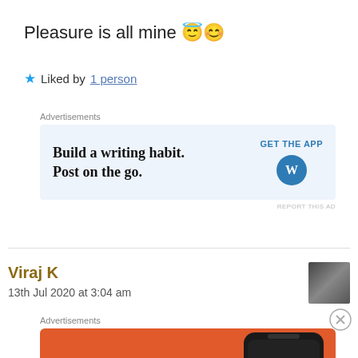Pleasure is all mine 😇😊
★ Liked by 1 person
Advertisements
[Figure (screenshot): Advertisement banner: 'Build a writing habit. Post on the go.' with GET THE APP button and WordPress logo]
Viraj K
13th Jul 2020 at 3:04 am
[Figure (photo): User avatar photo of Viraj K]
Advertisements
[Figure (screenshot): DuckDuckGo advertisement: 'Search, browse, and email with more privacy. All in One Free App' on orange background with phone mockup]